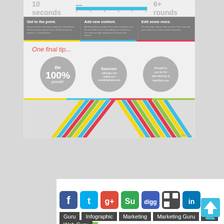[Figure (infographic): Infographic section showing '10 seconds' and '6+ rounds' stats with a bar chart, three tips (Get to the point, Add new content, Edit some more), 'One final tip...' with circles (Be 100% yourself, Sources, Brought to you by the web wizards at NacPhin.com), colorful chevron decoration]
[Figure (infographic): Social sharing icons row: Facebook, Twitter, Google+, StumbleUpon, Digg, Delicious, LinkedIn, Reddit, Chat]
Guru
Infographic
Marketing
Marketing Guru
seo
Web Guru